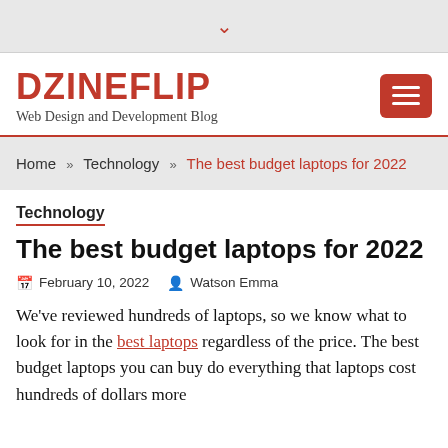▾
DZINEFLIP
Web Design and Development Blog
Home » Technology » The best budget laptops for 2022
Technology
The best budget laptops for 2022
February 10, 2022  Watson Emma
We've reviewed hundreds of laptops, so we know what to look for in the best laptops regardless of the price. The best budget laptops you can buy do everything that laptops cost hundreds of dollars more